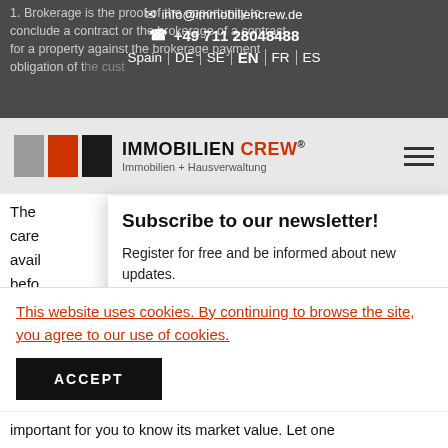1. Brokerage is the proof of the opportunity to conclude a contract or the brokerage of a contract for a property against the brokerage payment obligation of the customer.
info@immobiliencrew.de
+49 711 28048488
Spain | DE | SE | EN | FR | ES
[Figure (logo): Immobilien Crew logo with gray, red, and black boxes and text IMMOBILIEN CREW Immobilien + Hausverwaltung]
Subscribe to our newsletter!
The
care
avail
befo
Register for free and be informed about new updates.
This website uses cookies. By continuing to browse the site, you agree to our use of cookies.
ACCEPT
important for you to know its market value. Let one